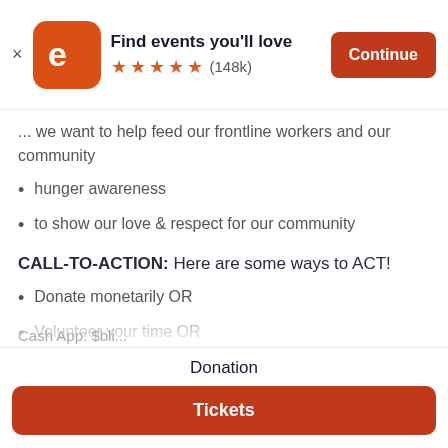[Figure (screenshot): Eventbrite app banner with icon, title 'Find events you’ll love', 5 star rating (148k reviews), and Continue button]
... we want to help feed our frontline workers and our community
hunger awareness
to show our love & respect for our community
CALL-TO-ACTION: Here are some ways to ACT!
Donate monetarily OR
Volunteer your time OR
Sponsor needed resources
DONATION OPTIONS:
Cash App: $bli...
Donation
Tickets